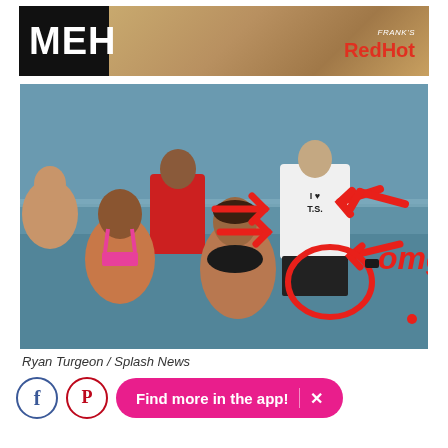[Figure (other): Advertisement banner with 'MEH' logo on black background and 'Frank's RedHot' brand name on right]
[Figure (photo): Beach photo of people in water with red drawn arrows pointing at person wearing 'I love T.S.' tank top, red circles and 'omg!' text drawn on image in red marker style]
Ryan Turgeon / Splash News
[Figure (infographic): Social sharing and app promotion bar with Facebook icon, Pinterest icon, and 'Find more in the app! X' pink button]